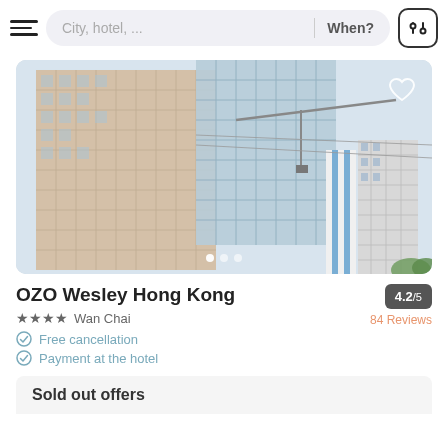City, hotel, ...   When?
[Figure (photo): Exterior photo of OZO Wesley Hong Kong hotel building — modern glass and concrete facade with blue accents]
OZO Wesley Hong Kong
★★★★ Wan Chai
Free cancellation
Payment at the hotel
4.2/5
84 Reviews
Sold out offers